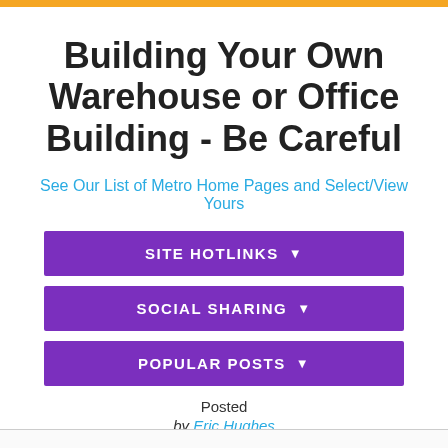Building Your Own Warehouse or Office Building - Be Careful
See Our List of Metro Home Pages and Select/View Yours
[Figure (screenshot): Three purple dropdown buttons labeled SITE HOTLINKS, SOCIAL SHARING, and POPULAR POSTS]
Posted
by Eric Hughes
#